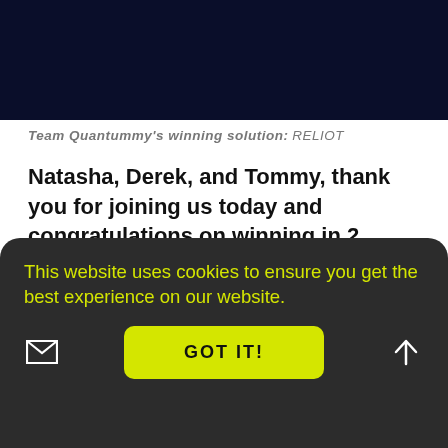[Figure (photo): Dark navy blue banner image at the top of the page]
Team Quantummy's winning solution: RELIOT
Natasha, Derek, and Tommy, thank you for joining us today and congratulations on winning in 2 major categories! Before we talk about the incredible experience and outcome, we'd love to know more about you.
Natasha: I live in Toronto and I work in contract
This website uses cookies to ensure you get the best experience on our website.
GOT IT!